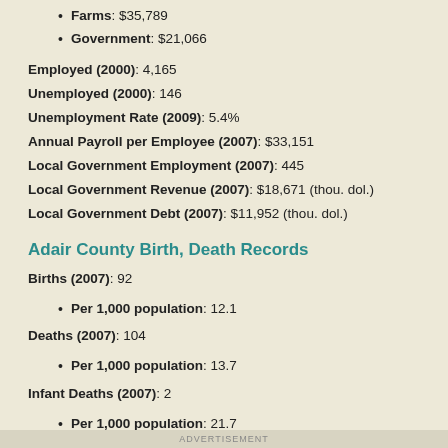Farms: $35,789
Government: $21,066
Employed (2000): 4,165
Unemployed (2000): 146
Unemployment Rate (2009): 5.4%
Annual Payroll per Employee (2007): $33,151
Local Government Employment (2007): 445
Local Government Revenue (2007): $18,671 (thou. dol.)
Local Government Debt (2007): $11,952 (thou. dol.)
Adair County Birth, Death Records
Births (2007): 92
Per 1,000 population: 12.1
Deaths (2007): 104
Per 1,000 population: 13.7
Infant Deaths (2007): 2
Per 1,000 population: 21.7
Adair County Criminal Records
ADVERTISEMENT